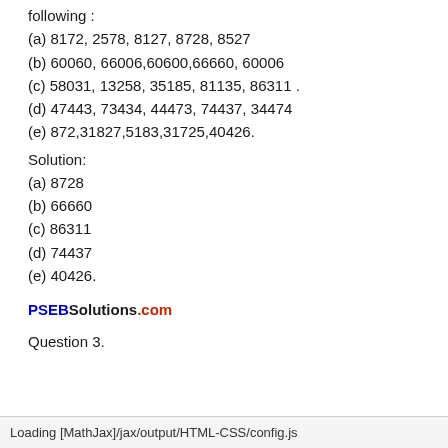following :
(a) 8172, 2578, 8127, 8728, 8527
(b) 60060, 66006,60600,66660, 60006
(c) 58031, 13258, 35185, 81135, 86311 .
(d) 47443, 73434, 44473, 74437, 34474
(e) 872,31827,5183,31725,40426.
Solution:
(a) 8728
(b) 66660
(c) 86311
(d) 74437
(e) 40426.
PSEBSolutions.com
Question 3.
Loading [MathJax]/jax/output/HTML-CSS/config.js